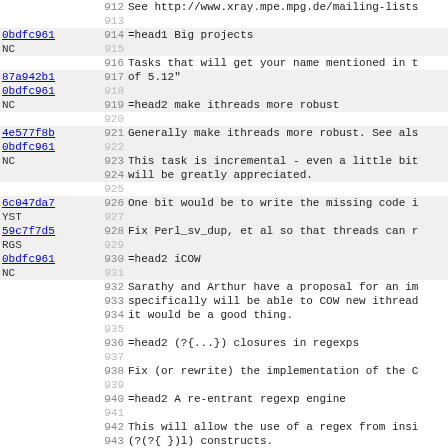912  See http://www.xray.mpe.mpg.de/mailing-lists
913
0bdfc961  914  =head1 Big projects
NC  915
916  Tasks that will get your name mentioned in t
87a942b1  917  of 5.12"
0bdfc961  918
NC  919  =head2 make ithreads more robust
920
4e577f8b  921  Generally make ithreads more robust. See als
0bdfc961  922
NC  923  This task is incremental - even a little bit
924  will be greatly appreciated.
925
6c047da7  926  One bit would be to write the missing code i
YST  927
59c7f7d5  928  Fix Perl_sv_dup, et al so that threads can r
RGS  929
0bdfc961  930  =head2 iCOW
NC  931
932  Sarathy and Arthur have a proposal for an im
933  specifically will be able to COW new ithread
934  it would be a good thing.
935
936  =head2 (?{...}) closures in regexps
937
938  Fix (or rewrite) the implementation of the C
939
940  =head2 A re-entrant regexp engine
941
942  This will allow the use of a regex from insi
943  (?(?{ })l) constructs.
0bd8358  944